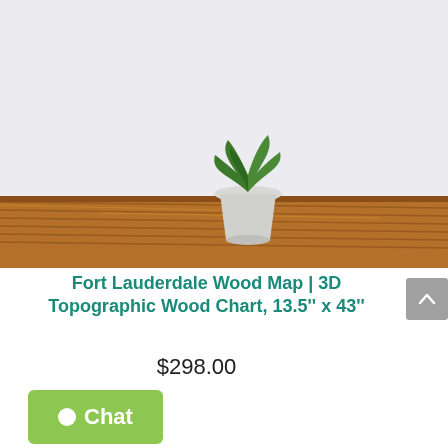[Figure (photo): Product photo of a Fort Lauderdale 3D wood topographic map hanging on a light gray wall above a wooden credenza/shelf with a small potted green plant beside it. The map is tall and narrow in a dark frame, showing teal/blue water areas and natural wood land areas.]
Fort Lauderdale Wood Map | 3D Topographic Wood Chart, 13.5'' x 43''
$298.00